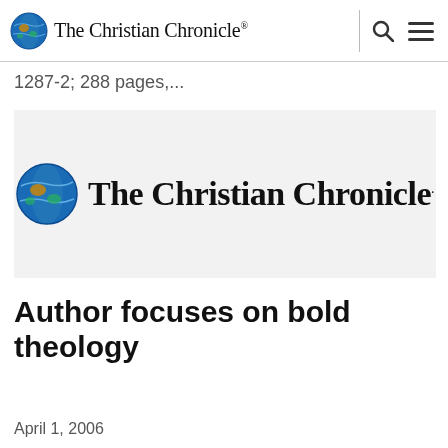The Christian Chronicle®
1287-2; 288 pages,...
[Figure (logo): The Christian Chronicle logo: globe icon beside the text 'The Christian Chronicle.' on a light grey background]
Author focuses on bold theology
April 1, 2006